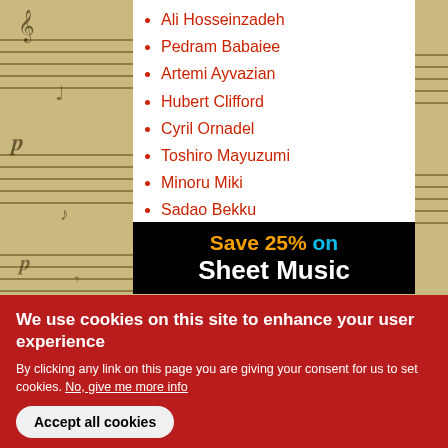Ali Hosseinzadeh
Pedram Babaiee
Artemi Ayvazian
Hubert Clifford
Cyril Ornadel
Toshiro Mayuzumi
Minoru Miki
Sadao Bekku
Toru Takemitsu
Hikaru Hayashi
[Figure (infographic): Black ad banner with text 'Save 25% on Sheet Music' where 'Save 25%' is in orange, 'on' is in cyan, and 'Sheet Music' is in white.]
We use cookies on this site to enhance your user experience
By clicking any link on this page you are giving your consent for us to set cookies. No, give me more info
Accept all cookies